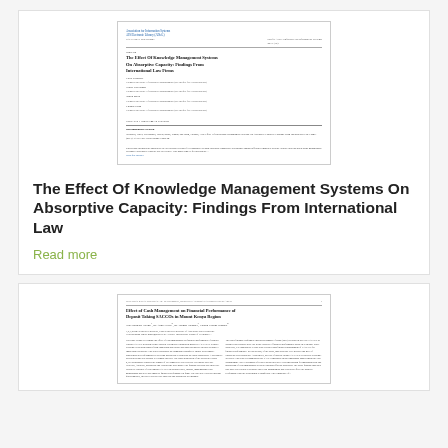[Figure (screenshot): Thumbnail preview of academic paper titled 'The Effect Of Knowledge Management Systems On Absorptive Capacity: Findings From International Law Firms' from AIS Electronic Library (AISeL), PACIS 2013 Proceedings]
The Effect Of Knowledge Management Systems On Absorptive Capacity: Findings From International Law
Read more
[Figure (screenshot): Thumbnail preview of academic paper titled 'Effect of Cash Management on Financial Performance of Deposit Taking SACCOs in Mount Kenya Region']